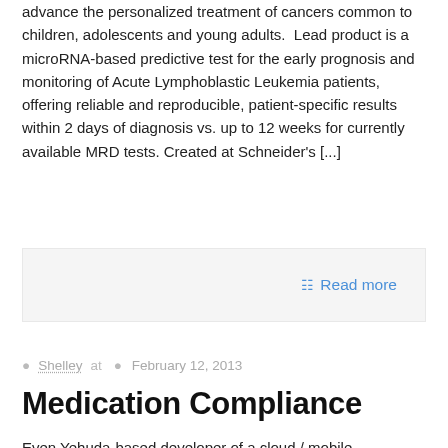advance the personalized treatment of cancers common to children, adolescents and young adults.  Lead product is a microRNA-based predictive test for the early prognosis and monitoring of Acute Lymphoblastic Leukemia patients, offering reliable and reproducible, patient-specific results within 2 days of diagnosis vs. up to 12 weeks for currently available MRD tests. Created at Schneider's [...]
Read more
Shelley at  February 12, 2013
Medication Compliance
Even Yehuda-based developer of a cloud / mobile application compliance solution aiming